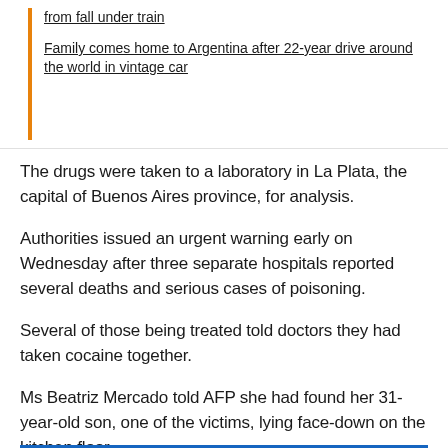from fall under train
Family comes home to Argentina after 22-year drive around the world in vintage car
The drugs were taken to a laboratory in La Plata, the capital of Buenos Aires province, for analysis.
Authorities issued an urgent warning early on Wednesday after three separate hospitals reported several deaths and serious cases of poisoning.
Several of those being treated told doctors they had taken cocaine together.
Ms Beatriz Mercado told AFP she had found her 31-year-old son, one of the victims, lying face-down on the kitchen floor.